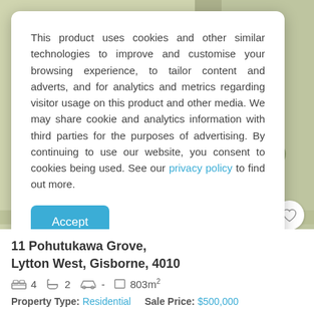[Figure (photo): Google Maps satellite/street view of a grassy area with a path and trees, with Google watermark in bottom left]
This product uses cookies and other similar technologies to improve and customise your browsing experience, to tailor content and adverts, and for analytics and metrics regarding visitor usage on this product and other media. We may share cookie and analytics information with third parties for the purposes of advertising. By continuing to use our website, you consent to cookies being used. See our privacy policy to find out more.
Accept
11 Pohutukawa Grove, Lytton West, Gisborne, 4010
4  2  -  803m²
Property Type: Residential   Sale Price: $500,000